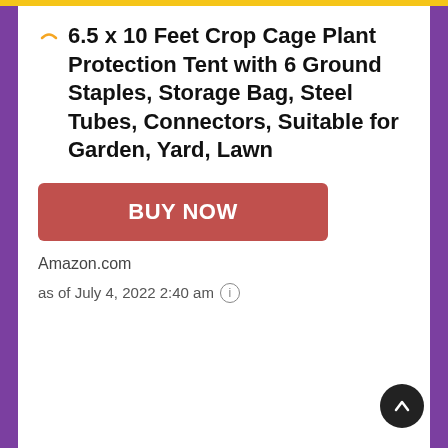6.5 x 10 Feet Crop Cage Plant Protection Tent with 6 Ground Staples, Storage Bag, Steel Tubes, Connectors, Suitable for Garden, Yard, Lawn
[Figure (other): Red BUY NOW button]
Amazon.com
as of July 4, 2022 2:40 am